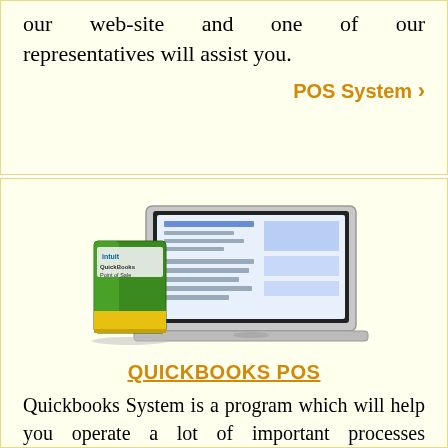our web-site and one of our representatives will assist you.
POS System ›
[Figure (photo): QuickBooks Point of Sale software box next to a laptop displaying the QuickBooks POS software interface]
QUICKBOOKS POS
Quickbooks System is a program which will help you operate a lot of important processes simultaneously and spend less time on it. This is a great assistant in many things and without it your business is like without a smart brain which knows how to do